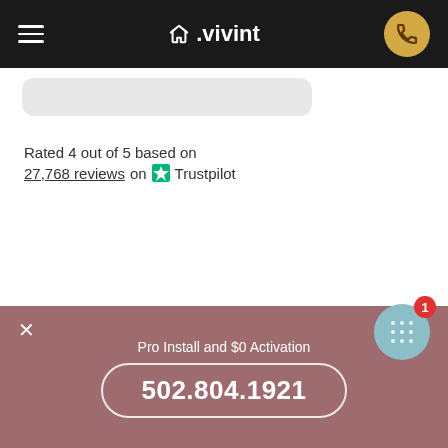vivint (navigation bar with hamburger menu and phone button)
[Figure (screenshot): Gray rounded card stub partially visible]
Rated 4 out of 5 based on 27,768 reviews on Trustpilot
[Figure (other): Chat bubble widget with notification badge showing 1]
[Figure (other): White house chevron icon on dark background]
Pro Install and $0 Activation
502.804.1921